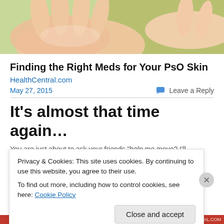[Figure (photo): Close-up photo of hands against a green/neutral background]
Finding the Right Meds for Your PsO Skin
HealthCentral.com
May 27, 2015
Leave a Reply
It's almost that time again…
You are just about to ask your friends "help me move? I'll
Privacy & Cookies: This site uses cookies. By continuing to use this website, you agree to their use.
To find out more, including how to control cookies, see here: Cookie Policy
Close and accept